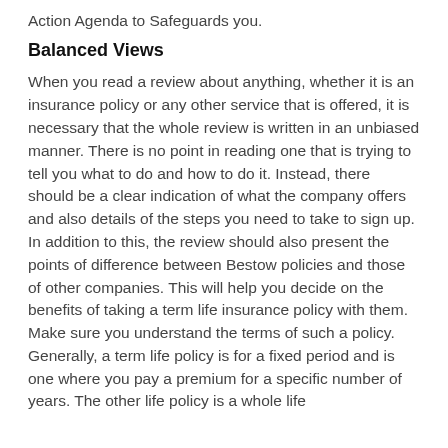Action Agenda to Safeguards you.
Balanced Views
When you read a review about anything, whether it is an insurance policy or any other service that is offered, it is necessary that the whole review is written in an unbiased manner. There is no point in reading one that is trying to tell you what to do and how to do it. Instead, there should be a clear indication of what the company offers and also details of the steps you need to take to sign up. In addition to this, the review should also present the points of difference between Bestow policies and those of other companies. This will help you decide on the benefits of taking a term life insurance policy with them. Make sure you understand the terms of such a policy. Generally, a term life policy is for a fixed period and is one where you pay a premium for a specific number of years. The other life policy is a whole life